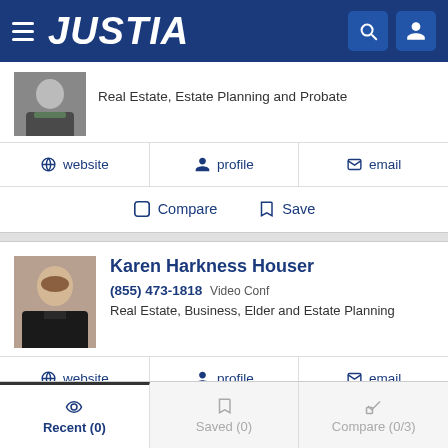JUSTIA
Real Estate, Estate Planning and Probate
website  profile  email
Compare  Save
Karen Harkness Houser
(855) 473-1818 Video Conf
Real Estate, Business, Elder and Estate Planning
website  profile  email
Compare  Save
Recent (0)  Saved (0)  Compare (0/3)